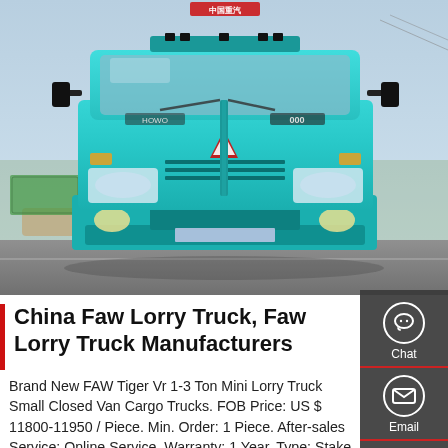[Figure (photo): Front view of a teal/turquoise Sinotruk HOWO heavy-duty lorry truck parked on a road, photographed straight-on, with trees and vehicles visible in the background. Chinese characters visible on the front of the truck.]
China Faw Lorry Truck, Faw Lorry Truck Manufacturers
Brand New FAW Tiger Vr 1-3 Ton Mini Lorry Truck Small Closed Van Cargo Trucks. FOB Price: US $ 11800-11950 / Piece. Min. Order: 1 Piece. After-sales Service: Online Service. Warranty: 1 Year. Type: Stake Style. Transmission Type: Manual. Emission Standard: Euro 2. Load Capacity: 1 ...